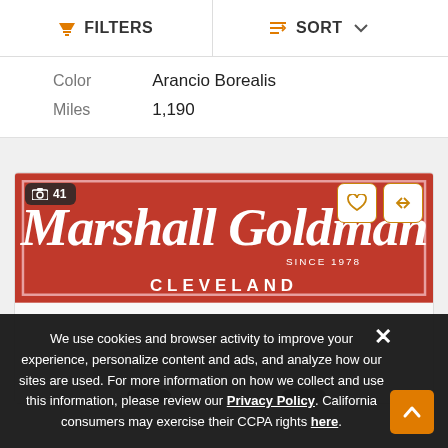FILTERS  SORT
| Color | Arancio Borealis |
| Miles | 1,190 |
[Figure (screenshot): Marshall Goldman Cleveland dealer banner in red with script logo and car image below]
We use cookies and browser activity to improve your experience, personalize content and ads, and analyze how our sites are used. For more information on how we collect and use this information, please review our Privacy Policy. California consumers may exercise their CCPA rights here.